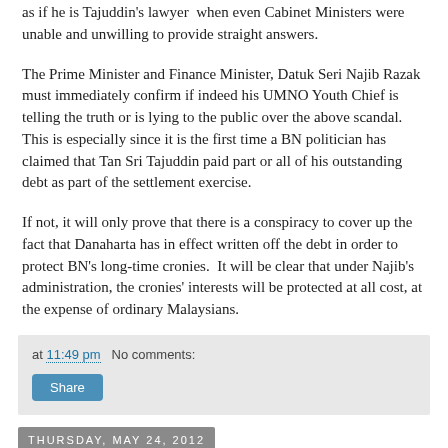as if he is Tajuddin's lawyer  when even Cabinet Ministers were unable and unwilling to provide straight answers.
The Prime Minister and Finance Minister, Datuk Seri Najib Razak must immediately confirm if indeed his UMNO Youth Chief is telling the truth or is lying to the public over the above scandal.  This is especially since it is the first time a BN politician has claimed that Tan Sri Tajuddin paid part or all of his outstanding debt as part of the settlement exercise.
If not, it will only prove that there is a conspiracy to cover up the fact that Danaharta has in effect written off the debt in order to protect BN's long-time cronies.  It will be clear that under Najib's administration, the cronies' interests will be protected at all cost, at the expense of ordinary Malaysians.
at 11:49 pm   No comments:
Share
Thursday, May 24, 2012
Transport Minister Must Clarify: